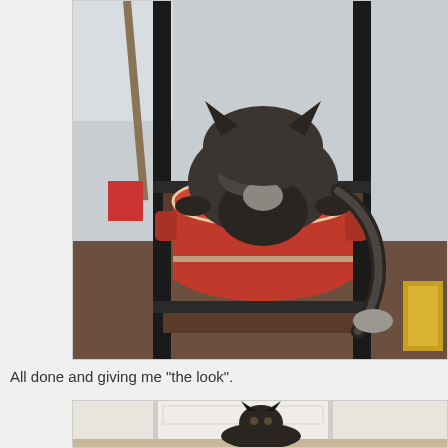[Figure (photo): A dark-furred animal (appears to be a cat or similar animal) leaning into a large red cooking pot/casserole dish placed on a black metal shelf/rack. The animal's head is down inside the pot. A broom or mop handle is visible in the background. The animal's paws grip the sides of the red pot.]
All done and giving me "the look".
[Figure (photo): Bottom portion of a second photo showing what appears to be the same dark-furred animal now on the floor near a door, giving a look toward the camera. The background shows a white/cream colored door and light walls.]